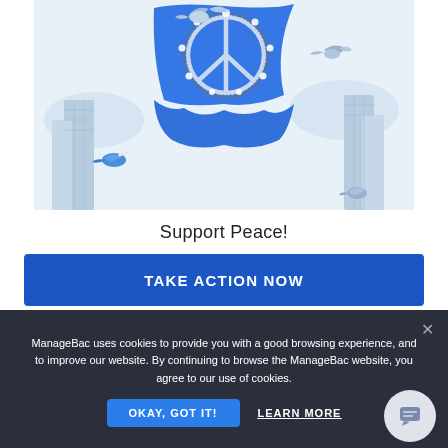[Figure (illustration): Blue peace flag with a peace sign decorated with a floral wreath, surrounded by white doves and stylized city buildings on a light blue background]
Support Peace!
TAKE ACTION NOW
ManageBac uses cookies to provide you with a good browsing experience, and to improve our website. By continuing to browse the ManageBac website, you agree to our use of cookies.
OKAY, GOT IT!
LEARN MORE